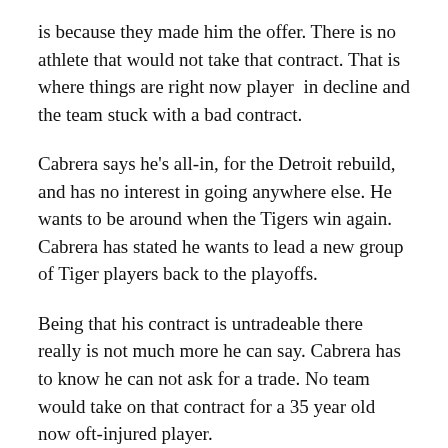is because they made him the offer. There is no athlete that would not take that contract. That is where things are right now player in decline and the team stuck with a bad contract.
Cabrera says he's all-in, for the Detroit rebuild, and has no interest in going anywhere else. He wants to be around when the Tigers win again. Cabrera has stated he wants to lead a new group of Tiger players back to the playoffs.
Being that his contract is untradeable there really is not much more he can say. Cabrera has to know he can not ask for a trade. No team would take on that contract for a 35 year old now oft-injured player.
When he goes into the Hall of Fame, and he will, he will go with Tigers cap. He has to. The hope in all of this is that the Detroit Tigers have learned a lesson about what size